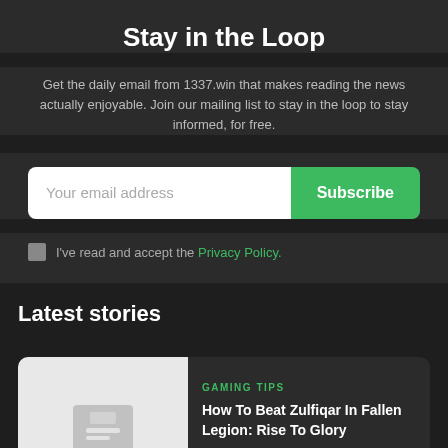Stay in the Loop
Get the daily email from 1337.win that makes reading the news actually enjoyable. Join our mailing list to stay in the loop to stay informed, for free.
Your email address  [Subscribe]
I've read and accept the Privacy Policy.
Latest stories
GAMING TIPS
How To Beat Zulfiqar In Fallen Legion: Rise To Glory